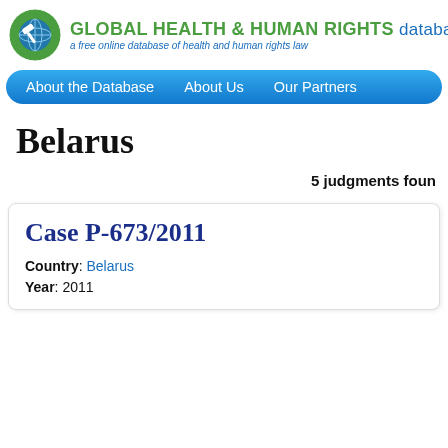GLOBAL HEALTH & HUMAN RIGHTS database — a free online database of health and human rights law
About the Database   About Us   Our Partners
Belarus
5 judgments found
Case P-673/2011
Country: Belarus
Year: 2011